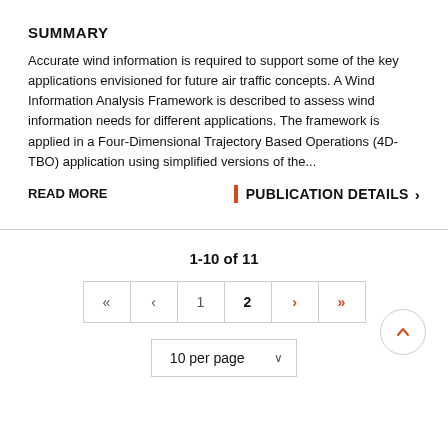SUMMARY
Accurate wind information is required to support some of the key applications envisioned for future air traffic concepts. A Wind Information Analysis Framework is described to assess wind information needs for different applications. The framework is applied in a Four-Dimensional Trajectory Based Operations (4D-TBO) application using simplified versions of the...
READ MORE
| PUBLICATION DETAILS >
1-10 of 11
« ‹ 1 2 › »
10 per page